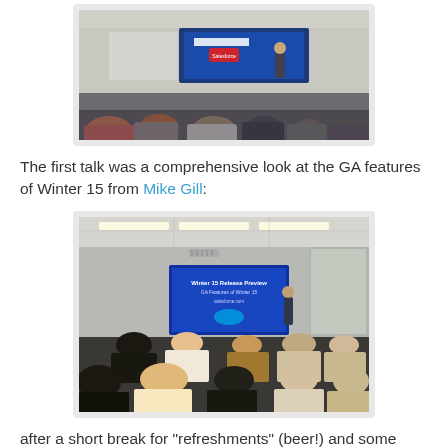[Figure (photo): Photo of a presentation room with audience members seated, a presenter standing at front next to a large screen showing a Salesforce-related slide. View from behind the audience.]
The first talk was a comprehensive look at the GA features of Winter 15 from Mike Gill:
[Figure (photo): Photo of another presentation scene in a modern office meeting room with fluorescent ceiling lights. Audience seated, presenter standing beside a blue-lit screen showing Winter 15 Release Preview content.]
after a short break for “refreshments” (beer!) and some more